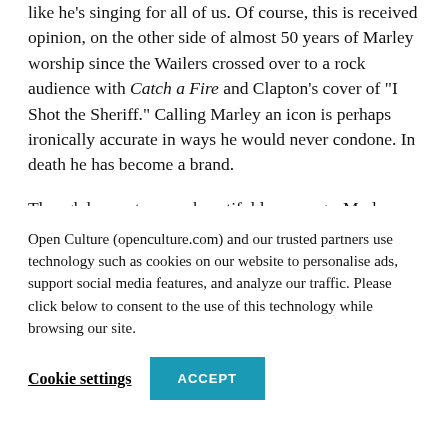like he's singing for all of us. Of course, this is received opinion, on the other side of almost 50 years of Marley worship since the Wailers crossed over to a rock audience with Catch a Fire and Clapton's cover of "I Shot the Sheriff." Calling Marley an icon is perhaps ironically accurate in ways he would never condone. In death he has become a brand.
Though he wrote some beautiful love songs, Marley also didn't water down his message to Rastafarian...
Open Culture (openculture.com) and our trusted partners use technology such as cookies on our website to personalise ads, support social media features, and analyze our traffic. Please click below to consent to the use of this technology while browsing our site.